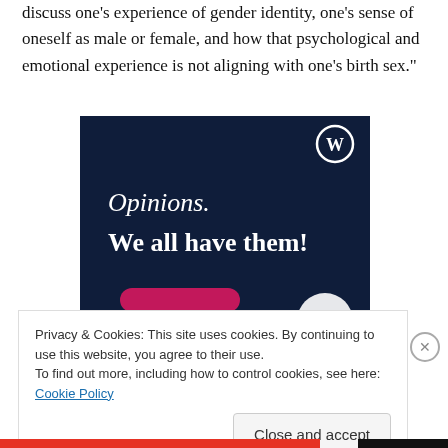discuss one's experience of gender identity, one's sense of oneself as male or female, and how that psychological and emotional experience is not aligning with one's birth sex."
[Figure (screenshot): WordPress.com advertisement with dark navy background showing text 'Opinions. We all have them!' with WordPress logo in top right corner and a pink button at the bottom.]
Privacy & Cookies: This site uses cookies. By continuing to use this website, you agree to their use.
To find out more, including how to control cookies, see here: Cookie Policy
Close and accept